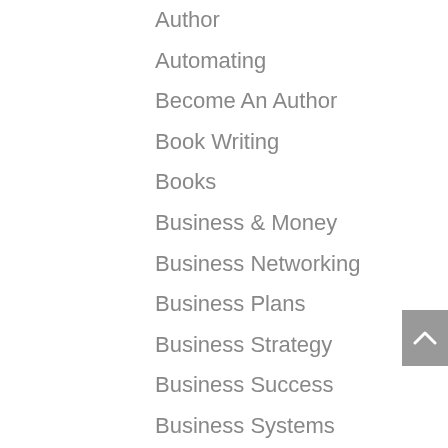Author
Automating
Become An Author
Book Writing
Books
Business & Money
Business Networking
Business Plans
Business Strategy
Business Success
Business Systems
Client Attraction
Closing The Sale